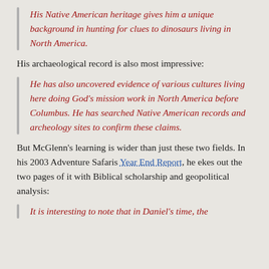His Native American heritage gives him a unique background in hunting for clues to dinosaurs living in North America.
His archaeological record is also most impressive:
He has also uncovered evidence of various cultures living here doing God's mission work in North America before Columbus. He has searched Native American records and archeology sites to confirm these claims.
But McGlenn's learning is wider than just these two fields. In his 2003 Adventure Safaris Year End Report, he ekes out the two pages of it with Biblical scholarship and geopolitical analysis:
It is interesting to note that in Daniel's time, the